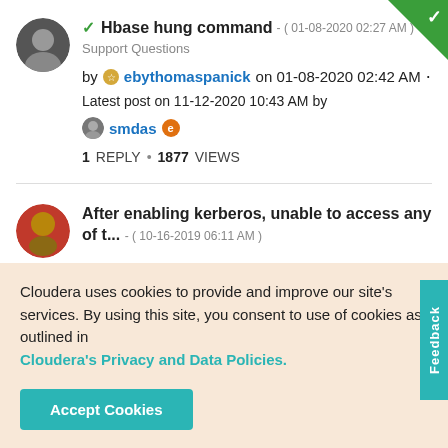Hbase hung command - ( 01-08-2020 02:27 AM )
Support Questions
by ebythomaspanick on 01-08-2020 02:42 AM • Latest post on 11-12-2020 10:43 AM by smdas
1 REPLY • 1877 VIEWS
After enabling kerberos, unable to access any of t... - ( 10-16-2019 06:11 AM )
Cloudera uses cookies to provide and improve our site's services. By using this site, you consent to use of cookies as outlined in Cloudera's Privacy and Data Policies.
Accept Cookies